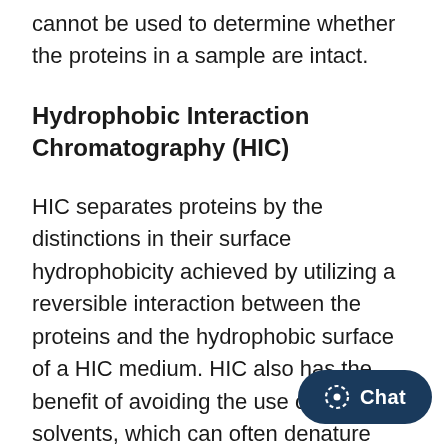the mass spectrometer is that this technique cannot be used to determine whether the proteins in a sample are intact.
Hydrophobic Interaction Chromatography (HIC)
HIC separates proteins by the distinctions in their surface hydrophobicity achieved by utilizing a reversible interaction between the proteins and the hydrophobic surface of a HIC medium. HIC also has the benefit of avoiding the use of organic solvents, which can often denature protein samples. The interaction of hydrophobic protein medium is substantially impacted by specific